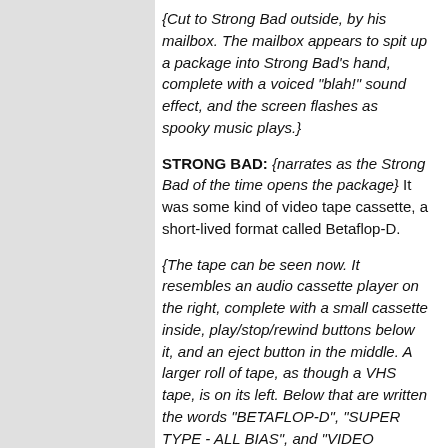{Cut to Strong Bad outside, by his mailbox. The mailbox appears to spit up a package into Strong Bad's hand, complete with a voiced "blah!" sound effect, and the screen flashes as spooky music plays.}
STRONG BAD: {narrates as the Strong Bad of the time opens the package} It was some kind of video tape cassette, a short-lived format called Betaflop-D.
{The tape can be seen now. It resembles an audio cassette player on the right, complete with a small cassette inside, play/stop/rewind buttons below it, and an eject button in the middle. A larger roll of tape, as though a VHS tape, is on its left. Below that are written the words "BETAFLOP-D", "SUPER TYPE - ALL BIAS", and "VIDEO CATHUNK". A 5" floppy disk labelled "CARDGAGE CHARACTER VIDEO" pops out of the top with a toaster sound effect.}
STRONG BAD: {narrating} Apparently made